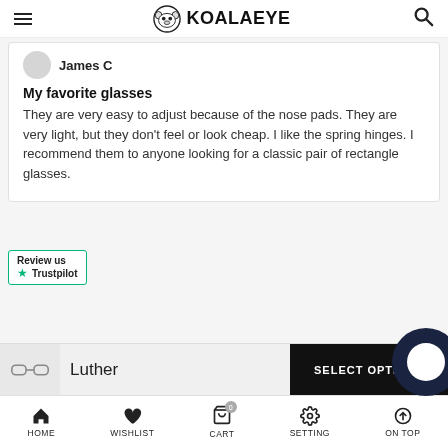KOALAEYE
James C
My favorite glasses
They are very easy to adjust because of the nose pads. They are very light, but they don't feel or look cheap. I like the spring hinges. I recommend them to anyone looking for a classic pair of rectangle glasses.
[Figure (logo): Trustpilot review us widget with green star and text]
Luther
SELECT OPTIONS
HOME  WISHLIST  CART  SETTING  ON TOP